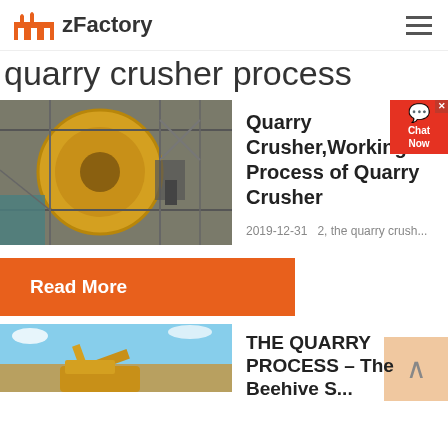zFactory
quarry crusher process
[Figure (photo): Industrial quarry crusher machinery with large yellow drum and metal framework]
Quarry Crusher,Working Process of Quarry Crusher
2019-12-31   2, the quarry crush...
Read More
[Figure (photo): Construction equipment (excavator) at a quarry site with blue sky background]
THE QUARRY PROCESS – The Beehive S...